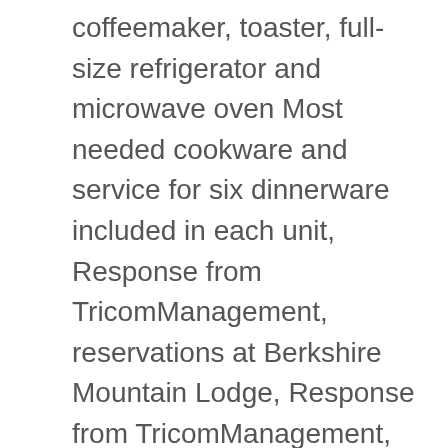coffeemaker, toaster, full-size refrigerator and microwave oven Most needed cookware and service for six dinnerware included in each unit, Response from TricomManagement, reservations at Berkshire Mountain Lodge, Response from TricomManagement, Reservations at Berkshire Mountain Lodge, Response from TricomManagement, HP at Berkshire Mountain Lodge, Review collected in partnership with Armed Forces Vacation Club, Response from TricomManagement, Guest Relations Manager at Berkshire Mountain Lodge. Would stay here again. Thank you for staying with us! Service fee is 20.00 U.S. dollars. We were greeted with a friendly woman